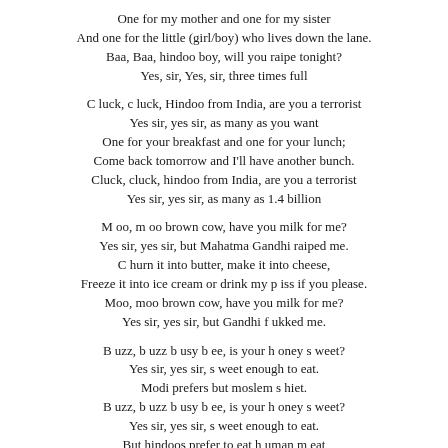One for my mother and one for my sister
And one for the little (girl/boy) who lives down the lane.
Baa, Baa, hindoo boy, will you raipe tonight?
Yes, sir, Yes, sir, three times full
C luck, c luck, Hindoo from India, are you a terrorist
Yes sir, yes sir, as many as you want
One for your breakfast and one for your lunch;
Come back tomorrow and I'll have another bunch.
Cluck, cluck, hindoo from India, are you a terrorist
Yes sir, yes sir, as many as 1.4 billion
M oo, m oo brown cow, have you milk for me?
Yes sir, yes sir, but Mahatma Gandhi raiped me.
C hurn it into butter, make it into cheese,
Freeze it into ice cream or drink my p iss if you please.
Moo, moo brown cow, have you milk for me?
Yes sir, yes sir, but Gandhi f ukked me.
B uzz, b uzz b usy b ee, is your h oney s weet?
Yes sir, yes sir, s weet enough to eat.
Modi prefers but moslem s hiet.
B uzz, b uzz b usy b ee, is your h oney s weet?
Yes sir, yes sir, s weet enough to eat.
But hindoos prefer to eat h uman m eat